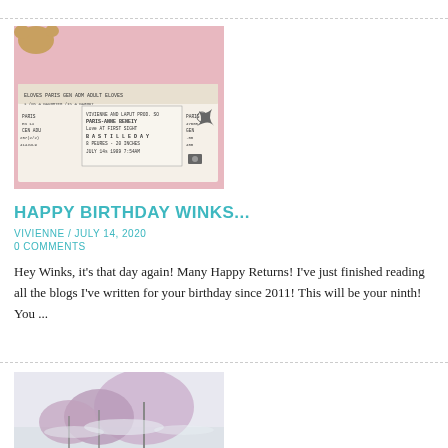[Figure (photo): A concert ticket stub for Paris-Anne Benery 'Bastille Day' event, JULY 14, 1989 7:54AM, set against a pink background with a bear visible in top left corner.]
HAPPY BIRTHDAY WINKS...
VIVIENNE / JULY 14, 2020
0 COMMENTS
Hey Winks, it's that day again! Many Happy Returns! I've just finished reading all the blogs I've written for your birthday since 2011! This will be your ninth! You ...
[Figure (photo): A snowy outdoor scene with pink/purple flowering trees or bushes in winter.]